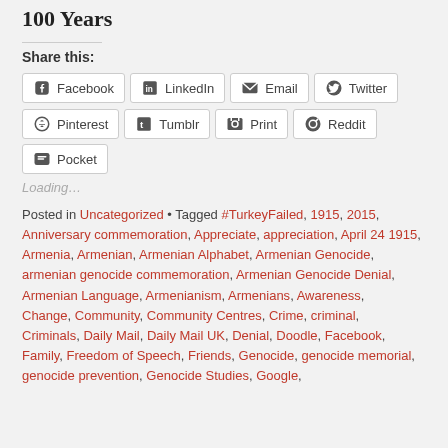100 Years
Share this:
Facebook  LinkedIn  Email  Twitter  Pinterest  Tumblr  Print  Reddit  Pocket
Loading...
Posted in Uncategorized • Tagged #TurkeyFailed, 1915, 2015, Anniversary commemoration, Appreciate, appreciation, April 24 1915, Armenia, Armenian, Armenian Alphabet, Armenian Genocide, armenian genocide commemoration, Armenian Genocide Denial, Armenian Language, Armenianism, Armenians, Awareness, Change, Community, Community Centres, Crime, criminal, Criminals, Daily Mail, Daily Mail UK, Denial, Doodle, Facebook, Family, Freedom of Speech, Friends, Genocide, genocide memorial, genocide prevention, Genocide Studies, Google,